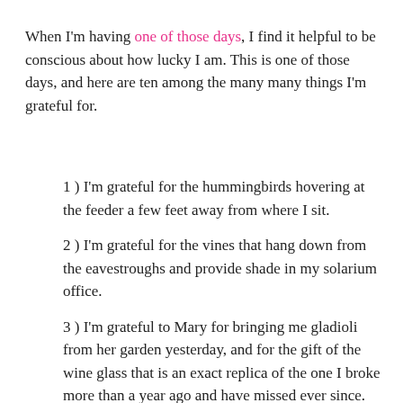When I'm having one of those days, I find it helpful to be conscious about how lucky I am. This is one of those days, and here are ten among the many many things I'm grateful for.
1 ) I'm grateful for the hummingbirds hovering at the feeder a few feet away from where I sit.
2 ) I'm grateful for the vines that hang down from the eavestroughs and provide shade in my solarium office.
3 ) I'm grateful to Mary for bringing me gladioli from her garden yesterday, and for the gift of the wine glass that is an exact replica of the one I broke more than a year ago and have missed ever since.